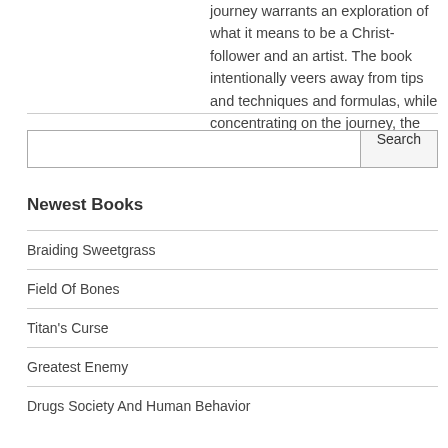journey warrants an exploration of what it means to be a Christ-follower and an artist. The book intentionally veers away from tips and techniques and formulas, while concentrating on the journey, the mystery, and the heart....
Newest Books
Braiding Sweetgrass
Field Of Bones
Titan's Curse
Greatest Enemy
Drugs Society And Human Behavior